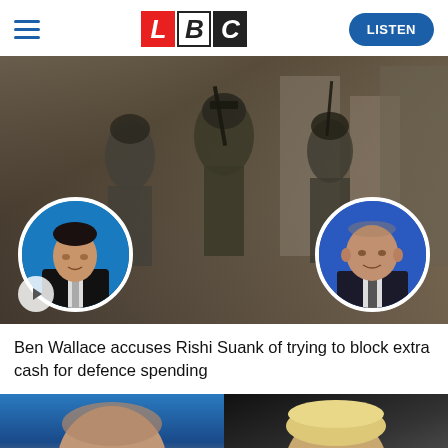LBC
[Figure (photo): Soldiers in military gear in an urban setting, with circular inset portrait photos of Rishi Sunak (left) and Ben Wallace (right) overlaid on the image. A play button icon is visible in the bottom-left corner.]
Ben Wallace accuses Rishi Suank of trying to block extra cash for defence spending
[Figure (photo): Close-up portrait photo of a bald man against a blue background (bottom left)]
[Figure (photo): Close-up portrait photo of a person with blonde/light hair against a dark background (bottom right)]